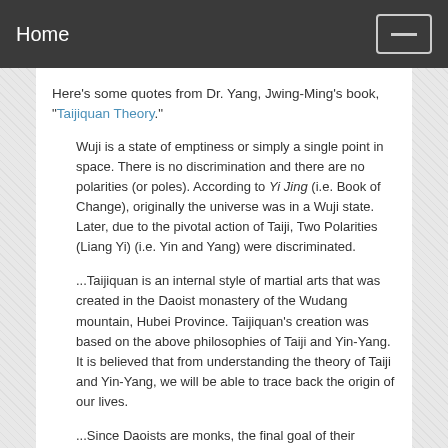Home
Here's some quotes from Dr. Yang, Jwing-Ming's book, "Taijiquan Theory."
Wuji is a state of emptiness or simply a single point in space. There is no discrimination and there are no polarities (or poles). According to Yi Jing (i.e. Book of Change), originally the universe was in a Wuji state. Later, due to the pivotal action of Taiji, Two Polarities (Liang Yi) (i.e. Yin and Yang) were discriminated.
...Taijiquan is an internal style of martial arts that was created in the Daoist monastery of the Wudang mountain, Hubei Province. Taijiquan's creation was based on the above philosophies of Taiji and Yin-Yang. It is believed that from understanding the theory of Taiji and Yin-Yang, we will be able to trace back the origin of our lives.
...Since Daoists are monks, the final goal of their spiritual cultivation is to reunite with the natural spirit